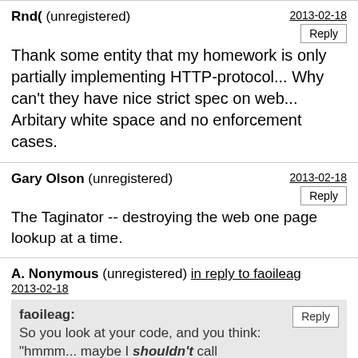Rnd( (unregistered) — 2013-02-18
Thank some entity that my homework is only partially implementing HTTP-protocol... Why can't they have nice strict spec on web... Arbitary white space and no enforcement cases.
Gary Olson (unregistered) — 2013-02-18
The Taginator -- destroying the web one page lookup at a time.
A. Nonymous (unregistered) in reply to faoileag — 2013-02-18
faoileag: So you look at your code, and you think: "hmmm... maybe I shouldn't call toLowerCase() more than once on the same string".